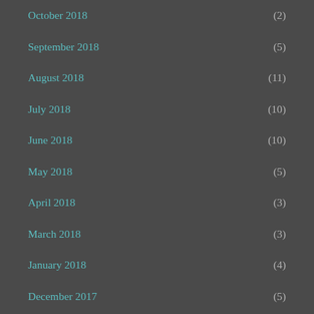October 2018 (2)
September 2018 (5)
August 2018 (11)
July 2018 (10)
June 2018 (10)
May 2018 (5)
April 2018 (3)
March 2018 (3)
January 2018 (4)
December 2017 (5)